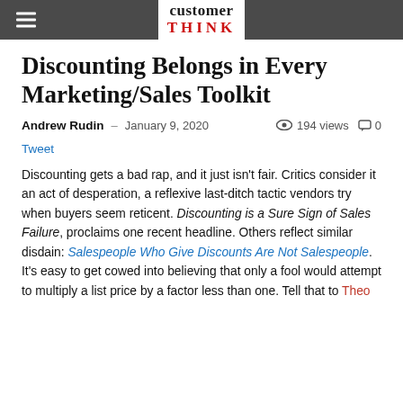customer THINK
Discounting Belongs in Every Marketing/Sales Toolkit
Andrew Rudin – January 9, 2020   194 views   0
Tweet
Discounting gets a bad rap, and it just isn't fair. Critics consider it an act of desperation, a reflexive last-ditch tactic vendors try when buyers seem reticent. Discounting is a Sure Sign of Sales Failure, proclaims one recent headline. Others reflect similar disdain: Salespeople Who Give Discounts Are Not Salespeople. It's easy to get cowed into believing that only a fool would attempt to multiply a list price by a factor less than one. Tell that to Theo